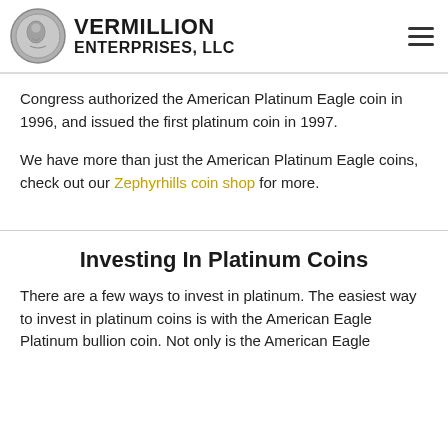VERMILLION ENTERPRISES, LLC
Congress authorized the American Platinum Eagle coin in 1996, and issued the first platinum coin in 1997.
We have more than just the American Platinum Eagle coins, check out our Zephyrhills coin shop for more.
Investing In Platinum Coins
There are a few ways to invest in platinum. The easiest way to invest in platinum coins is with the American Eagle Platinum bullion coin. Not only is the American Eagle